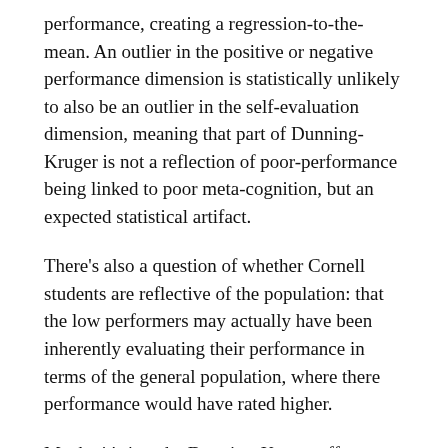performance, creating a regression-to-the-mean. An outlier in the positive or negative performance dimension is statistically unlikely to also be an outlier in the self-evaluation dimension, meaning that part of Dunning-Kruger is not a reflection of poor-performance being linked to poor meta-cognition, but an expected statistical artifact.
There's also a question of whether Cornell students are reflective of the population: that the low performers may actually have been inherently evaluating their performance in terms of the general population, where there performance would have rated higher.
Maybe it's just the Dunning-Kruger effect talking, but with zero formal training (and abstaining from any formal sources) I feel that I was obtain a somewhat nuanced opinion on the subject. I'm also